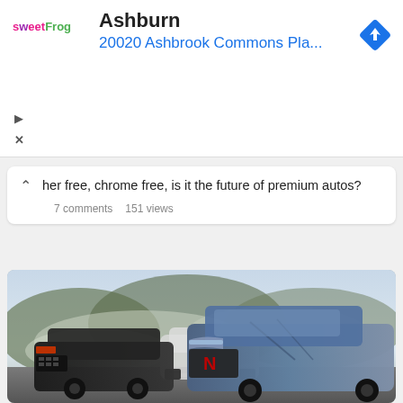[Figure (advertisement): sweetFrog ad banner showing location 'Ashburn' and address '20020 Ashbrook Commons Pla...' with navigation arrow icon]
her free, chrome free, is it the future of premium autos?
7 comments   151 views
[Figure (photo): Two performance/sports cars driving on a road with a misty mountain backdrop. A dark car on the left and a light blue/silver car in the foreground on the right.]